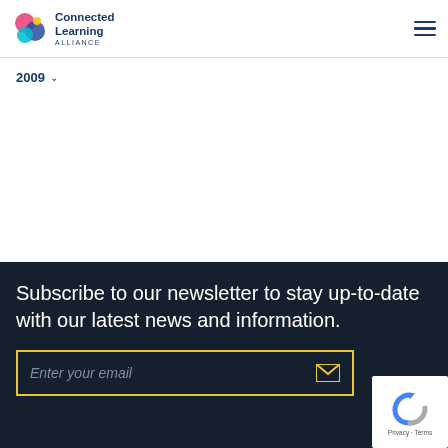Connected Learning Alliance
2009
Subscribe to our newsletter to stay up-to-date with our latest news and information.
Enter your email